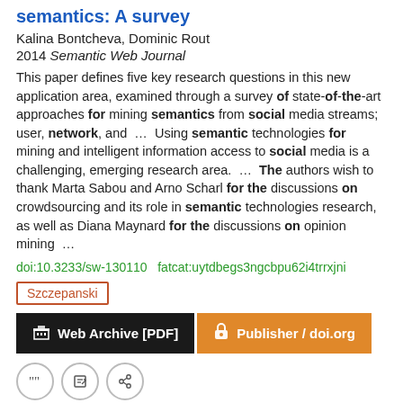semantics: A survey
Kalina Bontcheva, Dominic Rout
2014 Semantic Web Journal
This paper defines five key research questions in this new application area, examined through a survey of state-of-the-art approaches for mining semantics from social media streams; user, network, and ... Using semantic technologies for mining and intelligent information access to social media is a challenging, emerging research area. ... The authors wish to thank Marta Sabou and Arno Scharl for the discussions on crowdsourcing and its role in semantic technologies research, as well as Diana Maynard for the discussions on opinion mining ...
doi:10.3233/sw-130110  fatcat:uytdbegs3ngcbpu62i4trrxjni
Szczepanski
Web Archive [PDF]
Publisher / doi.org
IEEE Access Special Section Editorial: Advanced Data Mining Methods for Social Computing